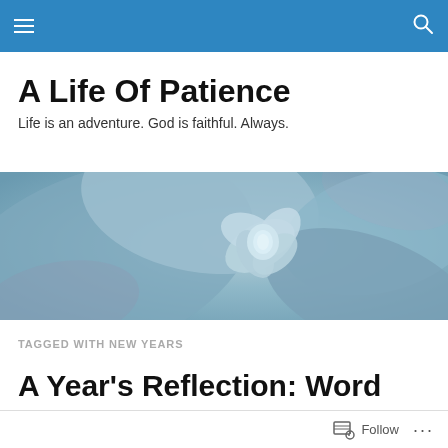A Life Of Patience — navigation bar
A Life Of Patience
Life is an adventure. God is faithful. Always.
[Figure (photo): Close-up macro photo of a blue-green succulent plant with layered petals, soft purple hues]
TAGGED WITH NEW YEARS
A Year's Reflection: Word Edition
Follow   ...